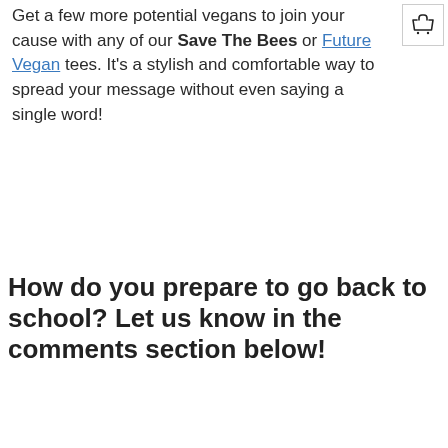Get a few more potential vegans to join your cause with any of our Save The Bees or Future Vegan tees. It's a stylish and comfortable way to spread your message without even saying a single word!
[Figure (other): Shopping cart icon in top right corner]
How do you prepare to go back to school? Let us know in the comments section below!